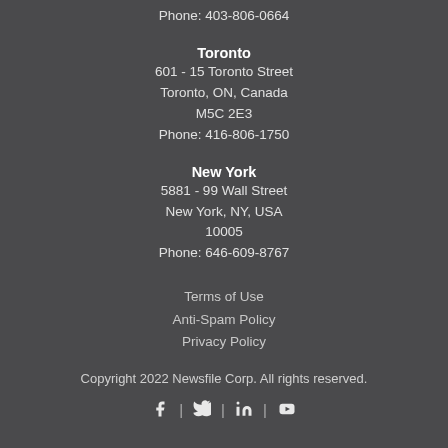Phone: 403-806-0664
Toronto
601 - 15 Toronto Street
Toronto, ON, Canada
M5C 2E3
Phone: 416-806-1750
New York
5881 - 99 Wall Street
New York, NY, USA
10005
Phone: 646-609-8767
Terms of Use
Anti-Spam Policy
Privacy Policy
Copyright 2022 Newsfile Corp. All rights reserved.
[Figure (other): Social media icons: Facebook, Twitter, LinkedIn, YouTube with pipe separators]